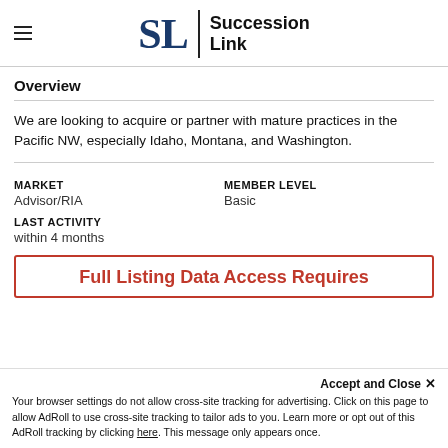[Figure (logo): Succession Link logo with hamburger menu icon, large blue SL letters, vertical divider, and bold text reading Succession Link]
Overview
We are looking to acquire or partner with mature practices in the Pacific NW, especially Idaho, Montana, and Washington.
MARKET
Advisor/RIA
MEMBER LEVEL
Basic
LAST ACTIVITY
within 4 months
Full Listing Data Access Requires
Accept and Close ×
Your browser settings do not allow cross-site tracking for advertising. Click on this page to allow AdRoll to use cross-site tracking to tailor ads to you. Learn more or opt out of this AdRoll tracking by clicking here. This message only appears once.